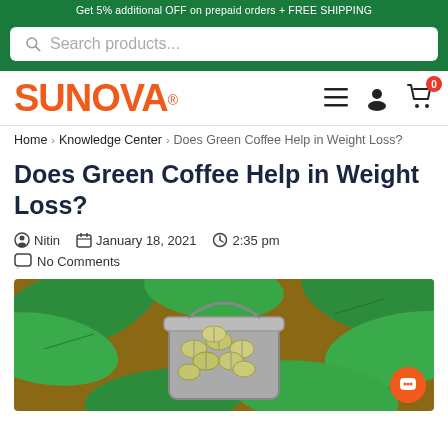Get 5% additional OFF on prepaid orders + FREE SHIPPING
[Figure (screenshot): Search bar with magnifying glass icon and placeholder text 'Search products...']
[Figure (logo): SUNOVA logo in orange with registered trademark symbol, hamburger menu icon, user icon, and shopping cart icon with badge showing 0]
Home > Knowledge Center > Does Green Coffee Help in Weight Loss?
Does Green Coffee Help in Weight Loss?
Nitin   January 18, 2021   2:35 pm
No Comments
[Figure (photo): Green coffee beans in a small metal bucket surrounded by green coffee plant leaves on a wooden surface]